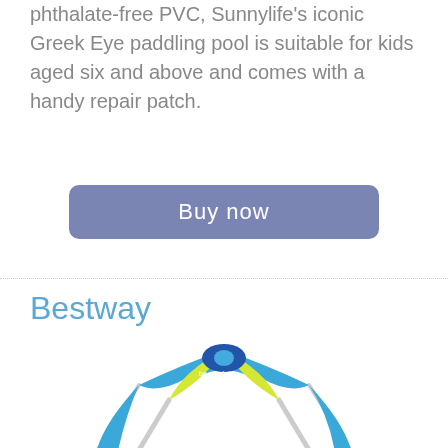phthalate-free PVC, Sunnylife's iconic Greek Eye paddling pool is suitable for kids aged six and above and comes with a handy repair patch.
[Figure (other): Buy now button with rounded rectangle, purple/blue background]
Bestway
[Figure (photo): Bestway paddling pool with blue and yellow canopy/shade cover supported by metal poles, filled with water, shown from a front angle]